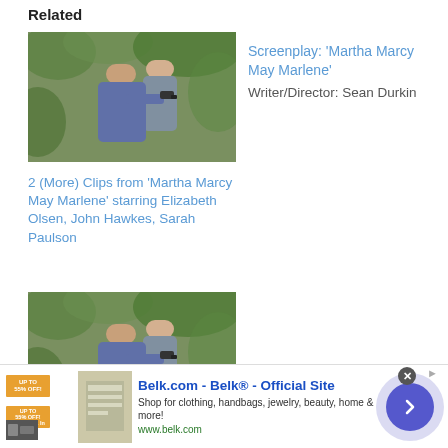Related
[Figure (photo): Two people in outdoor wooded setting, one pointing a gun]
2 (More) Clips from 'Martha Marcy May Marlene' starring Elizabeth Olsen, John Hawkes, Sarah Paulson
Screenplay: 'Martha Marcy May Marlene'
Writer/Director: Sean Durkin
[Figure (photo): Two people in outdoor wooded setting, one pointing a gun]
John Hawkes: “If something is written pretty
[Figure (other): Advertisement banner for Belk.com - Belk® - Official Site. Shop for clothing, handbags, jewelry, beauty, home & more! www.belk.com]